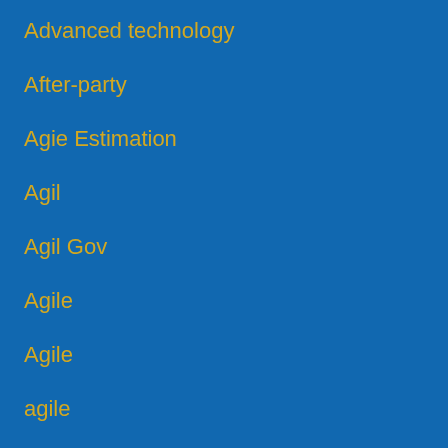Advanced technology
After-party
Agie Estimation
Agil
Agil Gov
Agile
Agile
agile
Agile
Agile #Agile AppSec